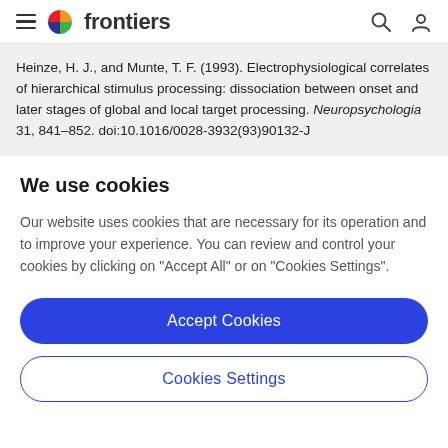frontiers
Heinze, H. J., and Munte, T. F. (1993). Electrophysiological correlates of hierarchical stimulus processing: dissociation between onset and later stages of global and local target processing. Neuropsychologia 31, 841–852. doi:10.1016/0028-3932(93)90132-J
We use cookies
Our website uses cookies that are necessary for its operation and to improve your experience. You can review and control your cookies by clicking on "Accept All" or on "Cookies Settings".
Accept Cookies
Cookies Settings